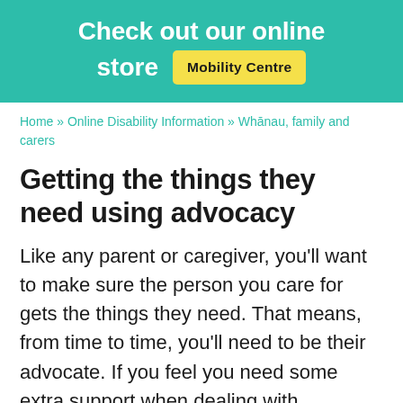Check out our online store
[Figure (other): Yellow button labeled 'Mobility Centre' on teal banner]
Home » Online Disability Information » Whānau, family and carers
Getting the things they need using advocacy
Like any parent or caregiver, you'll want to make sure the person you care for gets the things they need. That means, from time to time, you'll need to be their advocate. If you feel you need some extra support when dealing with organisations, healthcare